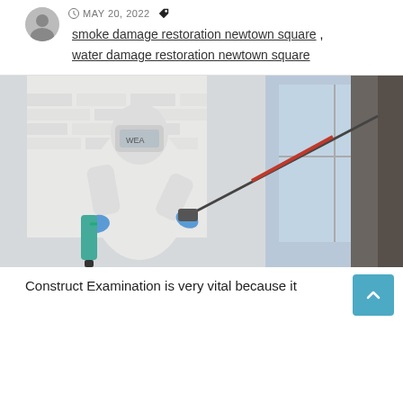MAY 20, 2022  smoke damage restoration newtown square, water damage restoration newtown square
[Figure (photo): A person in a white hazmat/protective suit and blue gloves using a long red-and-grey spray wand to apply treatment to a wall inside a building with white brick walls and large windows.]
Construct Examination is very vital because it